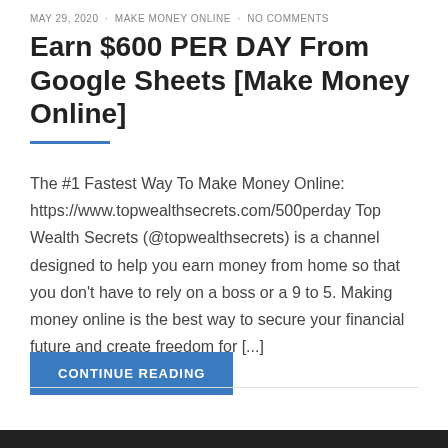MAY 29, 2020 · MAKE MONEY ONLINE · NO COMMENTS
Earn $600 PER DAY From Google Sheets [Make Money Online]
The #1 Fastest Way To Make Money Online: https://www.topwealthsecrets.com/500perday Top Wealth Secrets (@topwealthsecrets) is a channel designed to help you earn money from home so that you don't have to rely on a boss or a 9 to 5. Making money online is the best way to secure your financial future and create freedom for [...]
CONTINUE READING